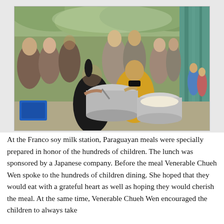[Figure (photo): People serving food outdoors at the Franco soy milk station. A woman and a man in a yellow shirt ladle food from large metal pots. A crowd of adults and children stand in the background under trees near a teal wooden structure.]
At the Franco soy milk station, Paraguayan meals were specially prepared in honor of the hundreds of children. The lunch was sponsored by a Japanese company. Before the meal Venerable Chueh Wen spoke to the hundreds of children dining. She hoped that they would eat with a grateful heart as well as hoping they would cherish the meal. At the same time, Venerable Chueh Wen encouraged the children to always take